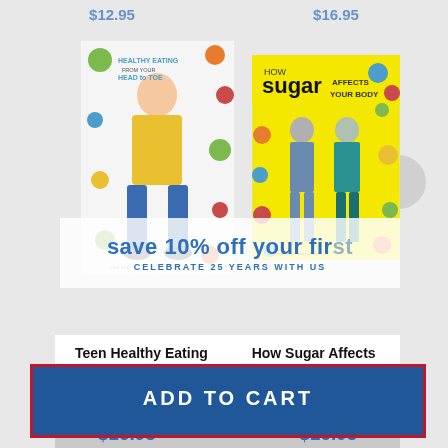[Figure (photo): Partially visible price text at top, two truncated blue price tags]
[Figure (photo): Healthy Eating from Head to Toe poster showing a teen boy surrounded by food illustrations on white background]
[Figure (photo): How Sugar Affects Your Body poster on yellow background showing two body silhouettes with labels]
save 10% off your first order
CELEBRATE 25 YEARS WITH US
ENTER YOUR EMAIL
Teen Healthy Eating from Head to Toe Poster
How Sugar Affects Your Body Poster
Item #410237
$16.95
SUBSCRIBE
Item #410332
$16.95
ADD TO CART